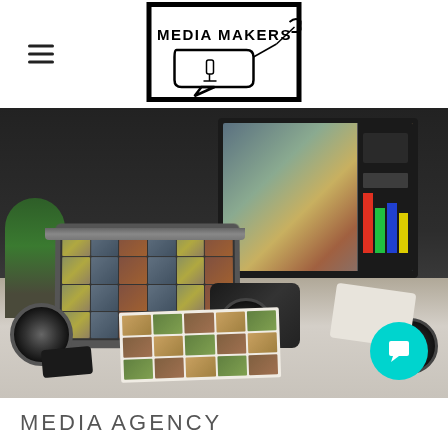Media Makers
[Figure (logo): Media Makers logo in a black-bordered rectangular frame with microphone and speech bubble graphic]
[Figure (photo): Photography/media workspace with laptop showing photo grid, large monitor with photo editing software, DSLR camera, camera lenses, photo prints on desk, smartphone, and a plant. A teal chat bubble icon is in the bottom right corner.]
MEDIA AGENCY